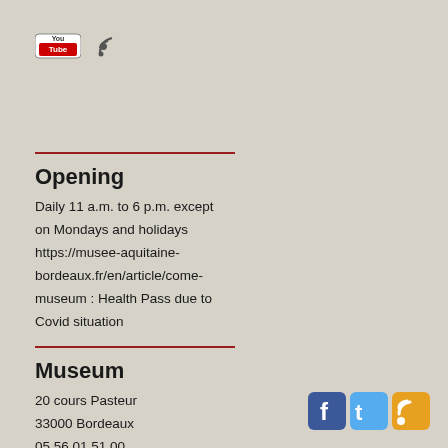[Figure (logo): YouTube logo icon and RSS feed icon]
Opening
Daily 11 a.m. to 6 p.m. except on Mondays and holidays https://musee-aquitaine-bordeaux.fr/en/article/come-museum : Health Pass due to Covid situation
Museum
20 cours Pasteur
33000 Bordeaux
05 56 01 51 00
musaq@mairie-bordeaux.fr
Mobile version
[Figure (logo): Facebook, Twitter, and RSS social media icons at bottom right]